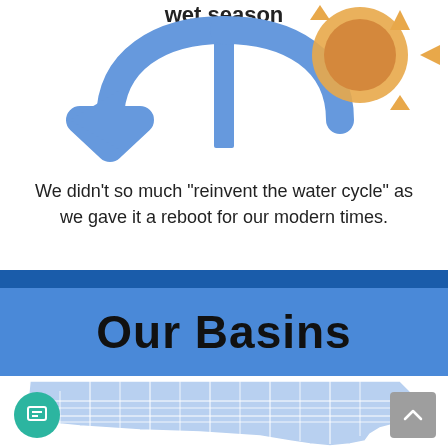[Figure (infographic): Partial water cycle infographic showing blue circular arrow with anchor shape and partial sun icon. Text 'wet season' visible at top.]
We didn't so much "reinvent the water cycle" as we gave it a reboot for our modern times.
Our Basins
[Figure (map): Partial map of Florida counties shown in light blue with white dividing lines between counties.]